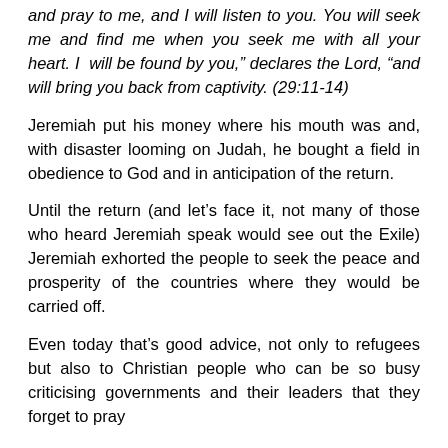and pray to me, and I will listen to you. You will seek me and find me when you seek me with all your heart. I will be found by you," declares the Lord, "and will bring you back from captivity. (29:11-14)
Jeremiah put his money where his mouth was and, with disaster looming on Judah, he bought a field in obedience to God and in anticipation of the return.
Until the return (and let's face it, not many of those who heard Jeremiah speak would see out the Exile) Jeremiah exhorted the people to seek the peace and prosperity of the countries where they would be carried off.
Even today that’s good advice, not only to refugees but also to Christian people who can be so busy criticising governments and their leaders that they forget to pray